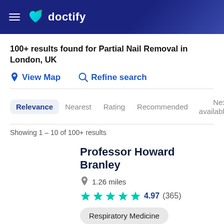doctify
100+ results found for Partial Nail Removal in London, UK
View Map   Refine search
Relevance   Nearest   Rating   Recommended   Next available
Showing 1 – 10 of 100+ results
Professor Howard Branley
1.26 miles
4.97 (365)
Respiratory Medicine